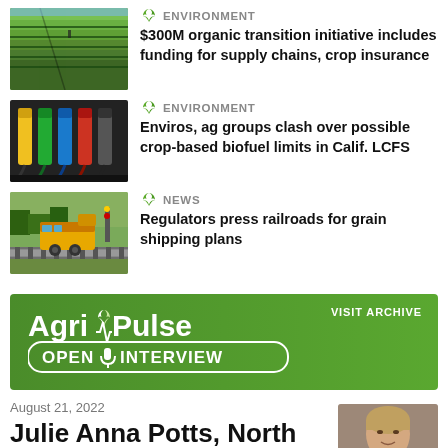[Figure (photo): Aerial view of green farm fields with irrigation]
ENVIRONMENT
$300M organic transition initiative includes funding for supply chains, crop insurance
[Figure (photo): Colorful gas pump nozzles hanging in a row]
ENVIRONMENT
Enviros, ag groups clash over possible crop-based biofuel limits in Calif. LCFS
[Figure (photo): CSX freight train locomotive on railway tracks]
NEWS
Regulators press railroads for grain shipping plans
[Figure (logo): Agri-Pulse Open Mic Interview banner with green background and white logo text]
VISIT ARCHIVE
August 21, 2022
Julie Anna Potts, North
[Figure (photo): Headshot of Julie Anna Potts, a woman with short blonde hair]